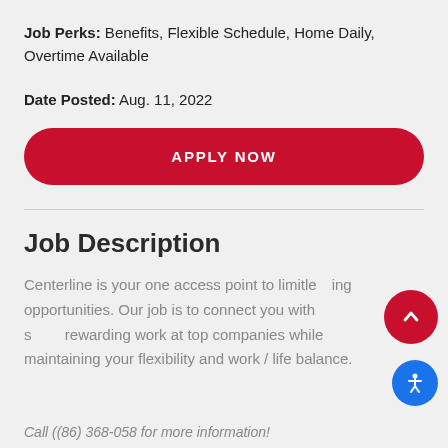Job Perks: Benefits, Flexible Schedule, Home Daily, Overtime Available
Date Posted: Aug. 11, 2022
[Figure (other): Red rounded rectangle button with white uppercase text 'APPLY NOW']
Job Description
Centerline is your one access point to limitless opportunities. Our job is to connect you with meaningful rewarding work at top companies while maintaining your flexibility and work / life balance.
Call (861) 368-058 for more information!